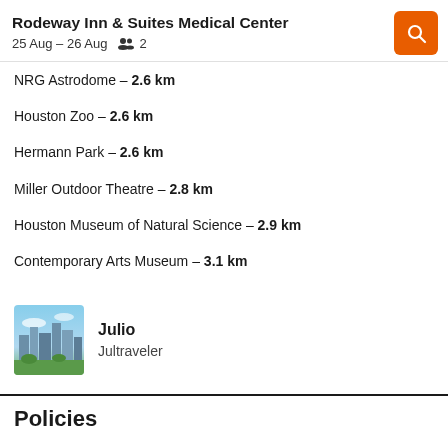Rodeway Inn & Suites Medical Center | 25 Aug – 26 Aug  2
NRG Astrodome – 2.6 km
Houston Zoo – 2.6 km
Hermann Park – 2.6 km
Miller Outdoor Theatre – 2.8 km
Houston Museum of Natural Science – 2.9 km
Contemporary Arts Museum – 3.1 km
[Figure (photo): City skyline photo used as reviewer avatar]
Julio
Jultraveler
Policies